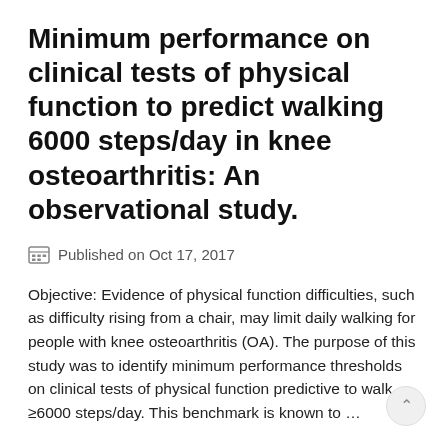Minimum performance on clinical tests of physical function to predict walking 6000 steps/day in knee osteoarthritis: An observational study.
Published on Oct 17, 2017
Objective: Evidence of physical function difficulties, such as difficulty rising from a chair, may limit daily walking for people with knee osteoarthritis (OA). The purpose of this study was to identify minimum performance thresholds on clinical tests of physical function predictive to walk ≥6000 steps/day. This benchmark is known to …
The association of the neighborhood built environment with objectively